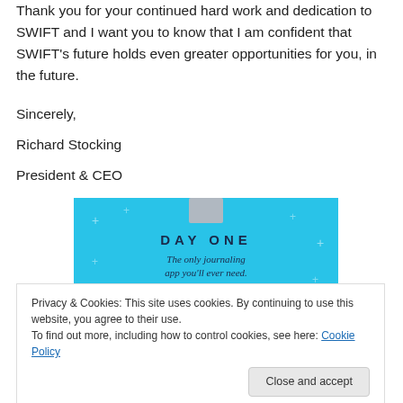Thank you for your continued hard work and dedication to SWIFT and I want you to know that I am confident that SWIFT's future holds even greater opportunities for you, in the future.
Sincerely,
Richard Stocking
President & CEO
[Figure (illustration): DAY ONE app advertisement on a blue background with plus signs scattered, showing 'DAY ONE' in bold letters and text 'The only journaling app you'll ever need.']
Privacy & Cookies: This site uses cookies. By continuing to use this website, you agree to their use.
To find out more, including how to control cookies, see here: Cookie Policy